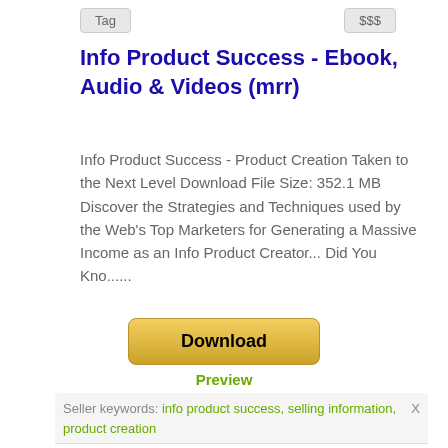Tag
$$$
Info Product Success - Ebook, Audio & Videos (mrr)
Info Product Success - Product Creation Taken to the Next Level Download File Size: 352.1 MB Discover the Strategies and Techniques used by the Web's Top Marketers for Generating a Massive Income as an Info Product Creator... Did You Kno......
[Figure (other): Download button (golden/yellow gradient button labeled Download)]
Preview
5.49 USD
Seller keywords: info product success, selling information, product creation X